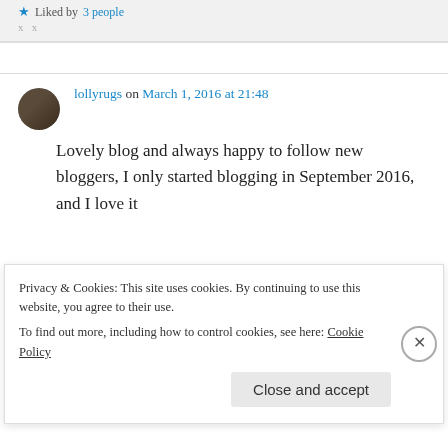Liked by 3 people
lollyrugs on March 1, 2016 at 21:48
Lovely blog and always happy to follow new bloggers, I only started blogging in September 2016, and I love it
Privacy & Cookies: This site uses cookies. By continuing to use this website, you agree to their use. To find out more, including how to control cookies, see here: Cookie Policy
Close and accept